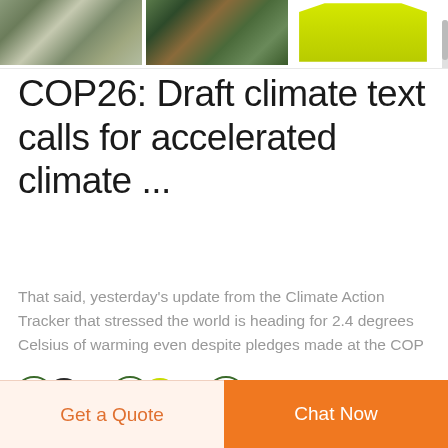[Figure (photo): Three product images at top: two camouflage fabric swatches and one yellow safety vest, partially cropped]
COP26: Draft climate text calls for accelerated climate ...
That said, yesterday's update from the Climate Action Tracker that stressed the world is heading for 2.4 degrees Celsius of warming even despite pledges made at the COP ...
[Figure (photo): Row of product thumbnails with circular badge icons at bottom of page]
Get a Quote
Chat Now